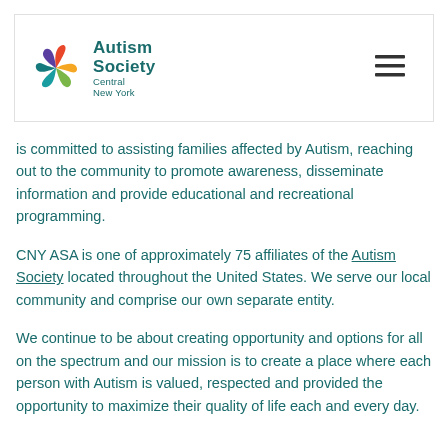Autism Society Central New York
is committed to assisting families affected by Autism, reaching out to the community to promote awareness, disseminate information and provide educational and recreational programming.
CNY ASA is one of approximately 75 affiliates of the Autism Society located throughout the United States. We serve our local community and comprise our own separate entity.
We continue to be about creating opportunity and options for all on the spectrum and our mission is to create a place where each person with Autism is valued, respected and provided the opportunity to maximize their quality of life each and every day.